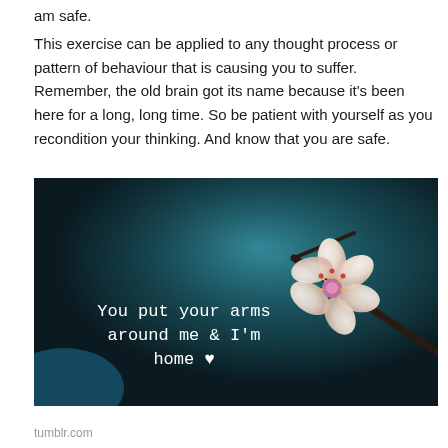am safe.
This exercise can be applied to any thought process or pattern of behaviour that is causing you to suffer. Remember, the old brain got its name because it's been here for a long, long time. So be patient with yourself as you recondition your thinking. And know that you are safe.
[Figure (photo): Dark teal/blue background with a white cherry blossom flower on a branch. White monospace text reads: You put your arms around me & I'm home ♥]
tumblr.com